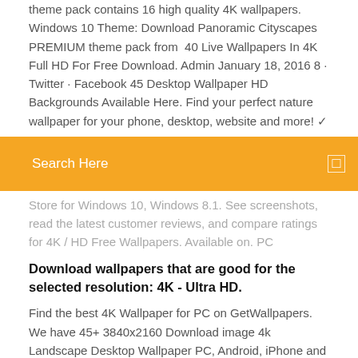theme pack contains 16 high quality 4K wallpapers. Windows 10 Theme: Download Panoramic Cityscapes PREMIUM theme pack from  40 Live Wallpapers In 4K Full HD For Free Download. Admin January 18, 2016 8 · Twitter · Facebook 45 Desktop Wallpaper HD Backgrounds Available Here. Find your perfect nature wallpaper for your phone, desktop, website and more! ✓
[Figure (screenshot): Orange/amber search bar with 'Search Here' text in white on the left and a small white square icon on the right]
Store for Windows 10, Windows 8.1. See screenshots, read the latest customer reviews, and compare ratings for 4K / HD Free Wallpapers. Available on. PC
Download wallpapers that are good for the selected resolution: 4K - Ultra HD.
Find the best 4K Wallpaper for PC on GetWallpapers. We have 45+ 3840x2160 Download image 4k Landscape Desktop Wallpaper PC, Android, iPhone and . One site with wallpapers at high resolutions (UHD 5K, ultra HD 4K 3840x2160, full HD